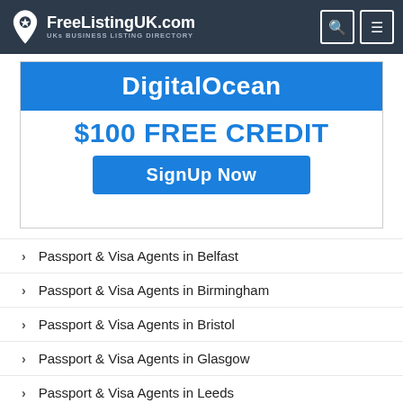FreeListingUK.com — UKs BUSINESS LISTING DIRECTORY
[Figure (other): DigitalOcean advertisement banner showing '$100 FREE CREDIT' with a 'SignUp Now' button]
Passport & Visa Agents in Belfast
Passport & Visa Agents in Birmingham
Passport & Visa Agents in Bristol
Passport & Visa Agents in Glasgow
Passport & Visa Agents in Leeds
Passport & Visa Agents in Liverpool
Passport & Visa Agents in London